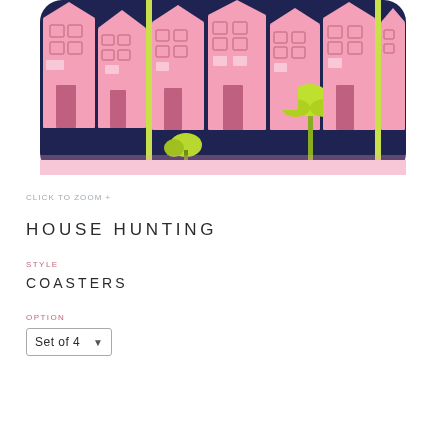[Figure (illustration): Product photo of a coaster set showing a colorful illustration of pink Victorian row houses with yellow-green palm trees on a dark navy background, displayed on a rounded-corner rectangular tray/coaster.]
CLICK TO ZOOM +
HOUSE HUNTING
STYLE
COASTERS
OPTION
Set of 4